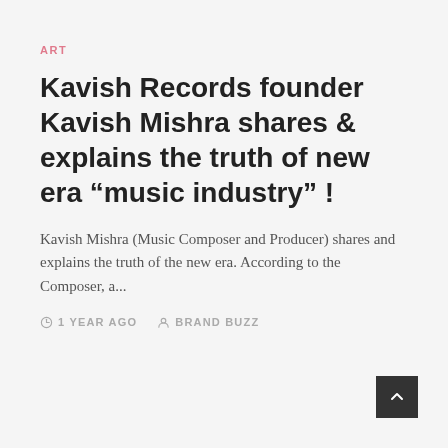ART
Kavish Records founder Kavish Mishra shares & explains the truth of new era “music industry” !
Kavish Mishra (Music Composer and Producer) shares and explains the truth of the new era. According to the Composer, a...
1 YEAR AGO   BRAND BUZZ